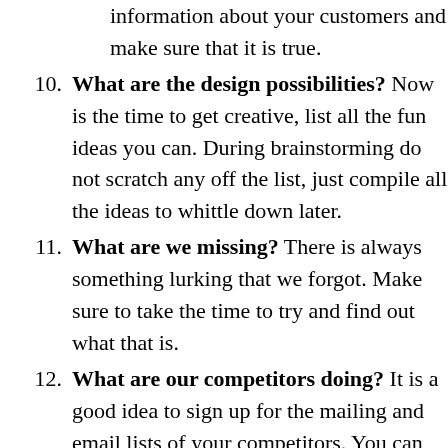information about your customers and make sure that it is true.
10. What are the design possibilities? Now is the time to get creative, list all the fun ideas you can. During brainstorming do not scratch any off the list, just compile all the ideas to whittle down later.
11. What are we missing? There is always something lurking that we forgot. Make sure to take the time to try and find out what that is.
12. What are our competitors doing? It is a good idea to sign up for the mailing and email lists of your competitors. You can do that under a different family name if you wish, but keeping tabs on what they are doing can help you shape your mail strategy